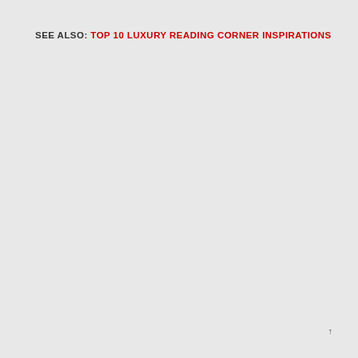SEE ALSO: TOP 10 LUXURY READING CORNER INSPIRATIONS
↑